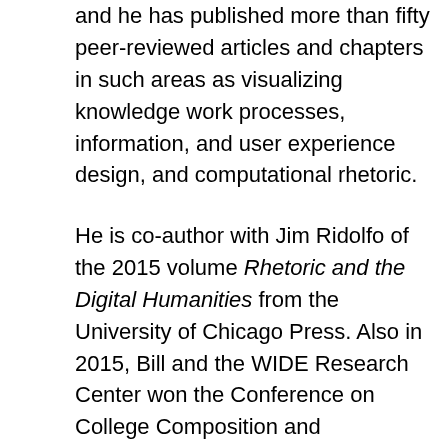and he has published more than fifty peer-reviewed articles and chapters in such areas as visualizing knowledge work processes, information, and user experience design, and computational rhetoric.
He is co-author with Jim Ridolfo of the 2015 volume Rhetoric and the Digital Humanities from the University of Chicago Press. Also in 2015, Bill and the WIDE Research Center won the Conference on College Composition and Communication "Technology Innovator Award", a prize that recognizes a career-long dedication to driving technological  change in the fields of Rhetoric, Writing, and Technical and